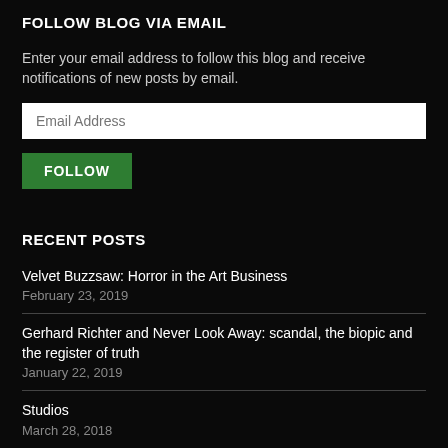FOLLOW BLOG VIA EMAIL
Enter your email address to follow this blog and receive notifications of new posts by email.
RECENT POSTS
Velvet Buzzsaw: Horror in the Art Business
February 23, 2019
Gerhard Richter and Never Look Away: scandal, the biopic and the register of truth
January 22, 2019
Studios
March 28, 2018